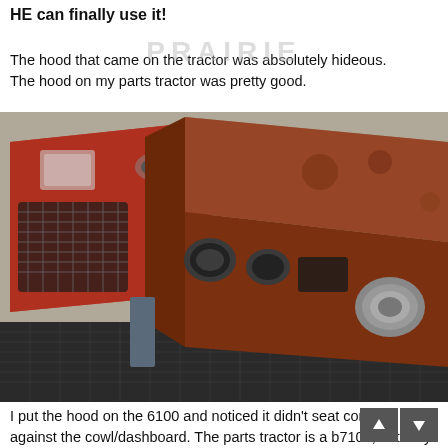HE can finally use it!
The hood that came on the tractor was absolutely hideous. The hood on my parts tractor was pretty good.
[Figure (photo): Two old rusty orange/red tractor hoods lying on a metal mesh surface outdoors. The hoods appear to be from a Kubota tractor, showing headlight openings and grille areas, with visible rust and wear.]
I put the hood on the 6100 and noticed it didn't seat correctly against the cowl/dashboard. The parts tractor is a b7100, but they sure looked identical to me. After some staring and eventually some measuring, I figured out that the 71 ha slightly taller hood, taller firewall between the engine and the